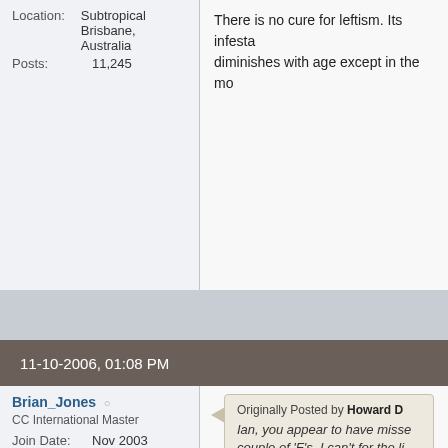Location: Subtropical Brisbane, Australia
Posts: 11,245
There is no cure for leftism. Its infesta diminishes with age except in the mo
11-10-2006, 01:08 PM
Brian_Jones
CC International Master
Join Date: Nov 2003
Location: Australia
Posts: 2,058
Originally Posted by Howard D
Ian, you appear to have misse couple of 'F's. I can't for the li what they could be.
I know what FQ means but does FC Cockroaches?
Last edited by Brian_Jones; 11-10-2006 at